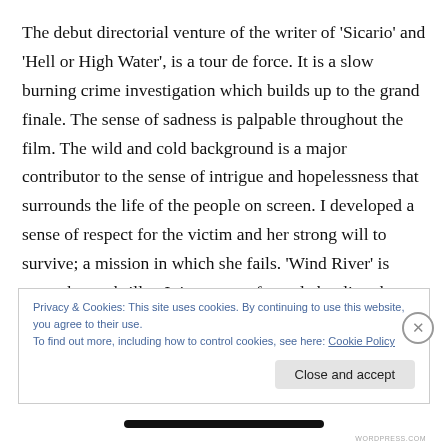The debut directorial venture of the writer of 'Sicario' and 'Hell or High Water', is a tour de force. It is a slow burning crime investigation which builds up to the grand finale. The sense of sadness is palpable throughout the film. The wild and cold background is a major contributor to the sense of intrigue and hopelessness that surrounds the life of the people on screen. I developed a sense of respect for the victim and her strong will to survive; a mission in which she fails. 'Wind River' is more than a thriller. It is a story of people battling the odds. It is a story which makes you
Privacy & Cookies: This site uses cookies. By continuing to use this website, you agree to their use.
To find out more, including how to control cookies, see here: Cookie Policy
Close and accept